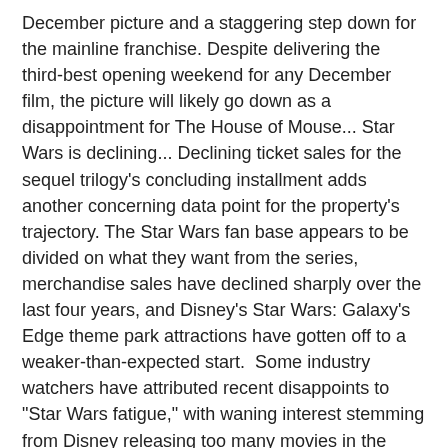December picture and a staggering step down for the mainline franchise. Despite delivering the third-best opening weekend for any December film, the picture will likely go down as a disappointment for The House of Mouse... Star Wars is declining... Declining ticket sales for the sequel trilogy's concluding installment adds another concerning data point for the property's trajectory. The Star Wars fan base appears to be divided on what they want from the series, merchandise sales have declined sharply over the last four years, and Disney's Star Wars: Galaxy's Edge theme park attractions have gotten off to a weaker-than-expected start.  Some industry watchers have attributed recent disappoints to "Star Wars fatigue," with waning interest stemming from Disney releasing too many movies in the franchise too soon... The Marvel Cinematic Universe saw three releases in 2019 alone, each of which proved very successful. The tremendous success for the streaming television series The Mandalorian on Disney+ also confounds the idea that audiences have universally grown tired of Star Wars. It seems more likely that many fans lost interest in the world of the sequel trilogy because they were unimpressed with the quality of the output, and this spilled over into merchandise